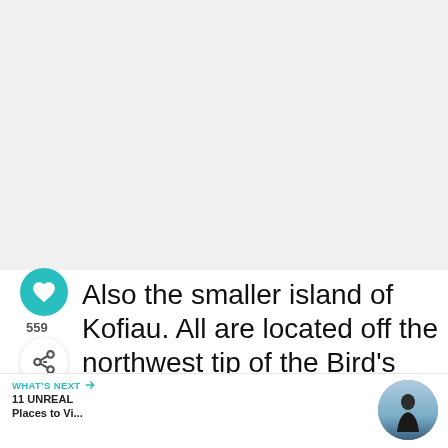[Figure (photo): Large photo area (mostly white/light, cropped), occupying the top portion of the page.]
Also the smaller island of Kofiau. All are located off the northwest tip of the Bird's Head Peninsula on the island of New Guinea in the West Papua province of Indonesia.
WHAT'S NEXT → 11 UNREAL Places to Vi...